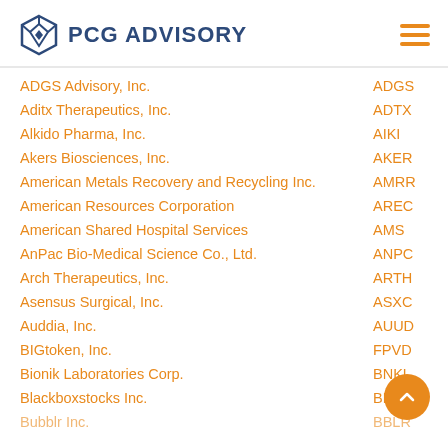PCG ADVISORY
ADGS Advisory, Inc.  ADGS
Aditx Therapeutics, Inc.  ADTX
Alkido Pharma, Inc.  AIKI
Akers Biosciences, Inc.  AKER
American Metals Recovery and Recycling Inc.  AMRR
American Resources Corporation  AREC
American Shared Hospital Services  AMS
AnPac Bio-Medical Science Co., Ltd.  ANPC
Arch Therapeutics, Inc.  ARTH
Asensus Surgical, Inc.  ASXC
Auddia, Inc.  AUUD
BIGtoken, Inc.  FPVD
Bionik Laboratories Corp.  BNKL
Blackboxstocks Inc.  BLBX
Bubblr Inc.  BBLR